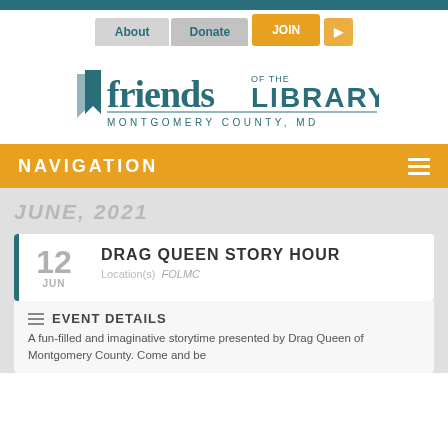Navigation bar with About, Donate, JOIN buttons
[Figure (logo): Friends of the Library Montgomery County MD logo]
NAVIGATION
JUNE, 2021
12 JUN — DRAG QUEEN STORY HOUR — Location(s): FOLMC
EVENT DETAILS
A fun-filled and imaginative storytime presented by Drag Queen Drag Hem of Montgomery County. Come and be...